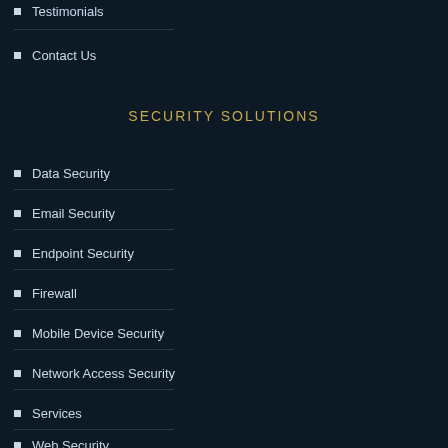Testimonials
Contact Us
SECURITY SOLUTIONS
Data Security
Email Security
Endpoint Security
Firewall
Mobile Device Security
Network Access Security
Services
Web Security